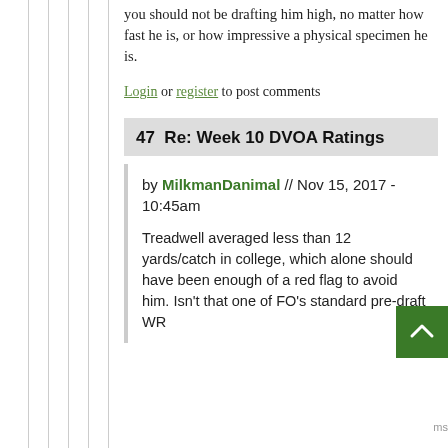you should not be drafting him high, no matter how fast he is, or how impressive a physical specimen he is.
Login or register to post comments
47  Re: Week 10 DVOA Ratings
by MilkmanDanimal // Nov 15, 2017 - 10:45am
Treadwell averaged less than 12 yards/catch in college, which alone should have been enough of a red flag to avoid him. Isn't that one of FO's standard pre-draft WR